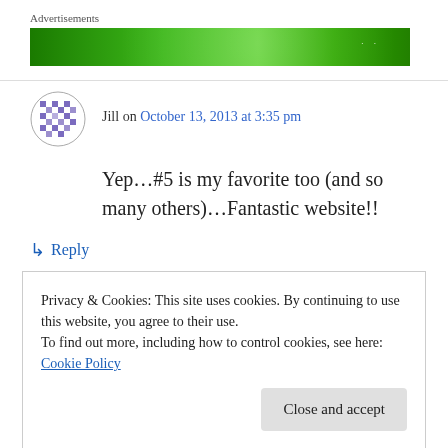[Figure (other): Green advertisement banner with sparkle/star effects]
Jill on October 13, 2013 at 3:35 pm
Yep…#5 is my favorite too (and so many others)…Fantastic website!!
↳ Reply
Privacy & Cookies: This site uses cookies. By continuing to use this website, you agree to their use.
To find out more, including how to control cookies, see here: Cookie Policy
Close and accept
warm inner glow that radiates after loving.